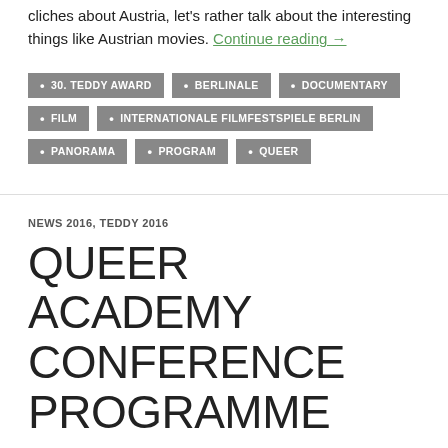cliches about Austria, let's rather talk about the interesting things like Austrian movies. Continue reading →
30. TEDDY AWARD
BERLINALE
DOCUMENTARY
FILM
INTERNATIONALE FILMFESTSPIELE BERLIN
PANORAMA
PROGRAM
QUEER
NEWS 2016, TEDDY 2016
QUEER ACADEMY CONFERENCE PROGRAMME
FEBRUARY 17, 2016   JOHANNAMITZ